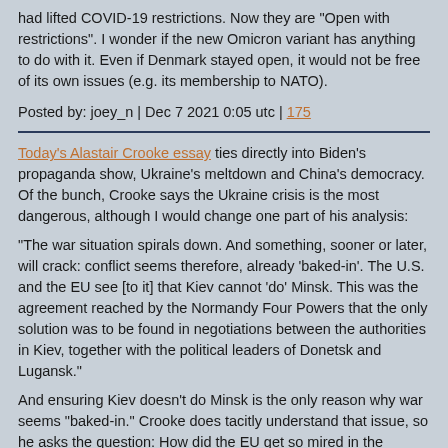had lifted COVID-19 restrictions. Now they are "Open with restrictions". I wonder if the new Omicron variant has anything to do with it. Even if Denmark stayed open, it would not be free of its own issues (e.g. its membership to NATO).
Posted by: joey_n | Dec 7 2021 0:05 utc | 175
Today's Alastair Crooke essay ties directly into Biden's propaganda show, Ukraine's meltdown and China's democracy. Of the bunch, Crooke says the Ukraine crisis is the most dangerous, although I would change one part of his analysis:
"The war situation spirals down. And something, sooner or later, will crack: conflict seems therefore, already 'baked-in'. The U.S. and the EU see [to it] that Kiev cannot 'do' Minsk. This was the agreement reached by the Normandy Four Powers that the only solution was to be found in negotiations between the authorities in Kiev, together with the political leaders of Donetsk and Lugansk."
And ensuring Kiev doesn't do Minsk is the only reason why war seems "baked-in." Crooke does tacitly understand that issue, so he asks the question: How did the EU get so mired in the current mess? Here's what he writes:
"So here we are. The question however, should be: How on earth did the EU get into such a strategic mess? The frank...